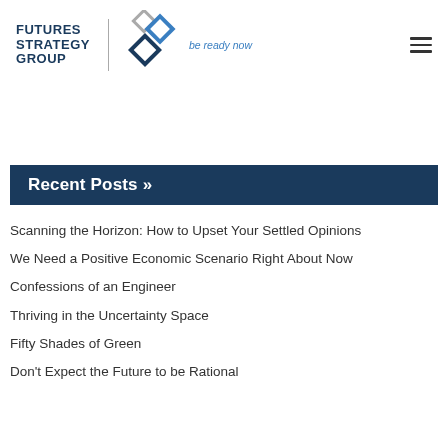[Figure (logo): Futures Strategy Group logo with diamond shapes and tagline 'be ready now']
Recent Posts »
Scanning the Horizon: How to Upset Your Settled Opinions
We Need a Positive Economic Scenario Right About Now
Confessions of an Engineer
Thriving in the Uncertainty Space
Fifty Shades of Green
Don't Expect the Future to be Rational